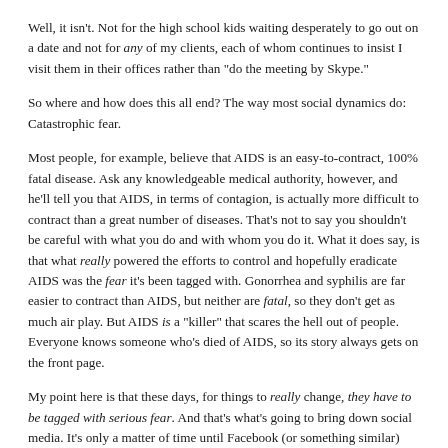Well, it isn't. Not for the high school kids waiting desperately to go out on a date and not for any of my clients, each of whom continues to insist I visit them in their offices rather than "do the meeting by Skype."
So where and how does this all end? The way most social dynamics do: Catastrophic fear.
Most people, for example, believe that AIDS is an easy-to-contract, 100% fatal disease. Ask any knowledgeable medical authority, however, and he'll tell you that AIDS, in terms of contagion, is actually more difficult to contract than a great number of diseases. That's not to say you shouldn't be careful with what you do and with whom you do it. What it does say, is that what really powered the efforts to control and hopefully eradicate AIDS was the fear it's been tagged with. Gonorrhea and syphilis are far easier to contract than AIDS, but neither are fatal, so they don't get as much air play. But AIDS is a "killer" that scares the hell out of people. Everyone knows someone who's died of AIDS, so its story always gets on the front page.
My point here is that these days, for things to really change, they have to be tagged with serious fear. And that's what's going to bring down social media. It's only a matter of time until Facebook (or something similar) becomes massively infected with one or more viruses that will devastate hundreds of millions of users' accounts, and accordingly, their lives. In a relatively few short seconds, all of the "sharing of data" guarded by supposedly "secure technology" that "stores its data in the cloud" will turn into just so much digital sludge, infesting and mutating data with effects that reach far beyond users' Facebook pages. It's not hard to imagine bank accounts, real estate records, medical data, personal